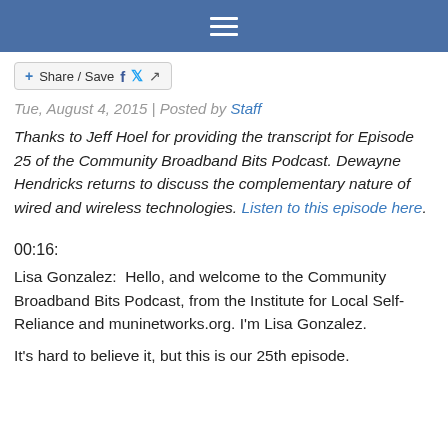☰ (navigation menu icon)
[Figure (other): Share/Save button with Facebook, Twitter, and forward icons]
Tue, August 4, 2015 | Posted by Staff
Thanks to Jeff Hoel for providing the transcript for Episode 25 of the Community Broadband Bits Podcast. Dewayne Hendricks returns to discuss the complementary nature of wired and wireless technologies. Listen to this episode here.
00:16:
Lisa Gonzalez:  Hello, and welcome to the Community Broadband Bits Podcast, from the Institute for Local Self-Reliance and muninetworks.org. I'm Lisa Gonzalez.
It's hard to believe it, but this is our 25th episode.